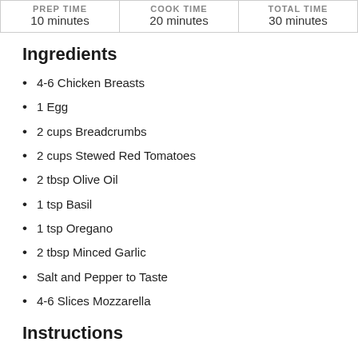| PREP TIME | COOK TIME | TOTAL TIME |
| --- | --- | --- |
| 10 minutes | 20 minutes | 30 minutes |
Ingredients
4-6 Chicken Breasts
1 Egg
2 cups Breadcrumbs
2 cups Stewed Red Tomatoes
2 tbsp Olive Oil
1 tsp Basil
1 tsp Oregano
2 tbsp Minced Garlic
Salt and Pepper to Taste
4-6 Slices Mozzarella
Instructions